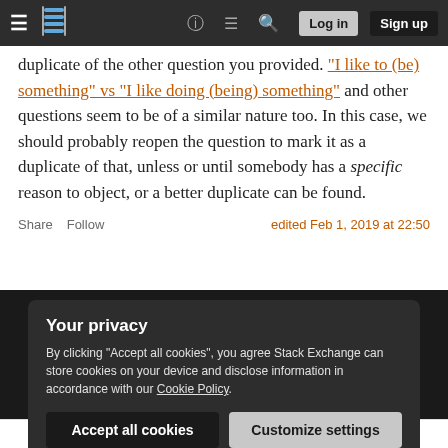Stack Exchange navigation bar with hamburger menu, logo, help, chat, search icons, Log in and Sign up buttons
duplicate of the other question you provided. "I like to (be) something" vs "I like doing (being) something" and other questions seem to be of a similar nature too. In this case, we should probably reopen the question to mark it as a duplicate of that, unless or until somebody has a specific reason to object, or a better duplicate can be found.
Share  Follow    edited Feb 1, 2019 at 22:50
Your privacy
By clicking "Accept all cookies", you agree Stack Exchange can store cookies on your device and disclose information in accordance with our Cookie Policy.
Accept all cookies    Customize settings
but I have a vested interest in the question being re-opened